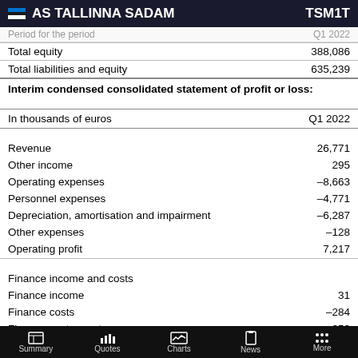AS TALLINNA SADAM | TSM1T
|  | Q1 2022 |
| --- | --- |
| Total equity | 388,086 |
| Total liabilities and equity | 635,239 |
Interim condensed consolidated statement of profit or loss:
| In thousands of euros | Q1 2022 |
| --- | --- |
| Revenue | 26,771 |
| Other income | 295 |
| Operating expenses | –8,663 |
| Personnel expenses | –4,771 |
| Depreciation, amortisation and impairment | –6,287 |
| Other expenses | –128 |
| Operating profit | 7,217 |
| Finance income and costs |  |
| Finance income | 31 |
| Finance costs | –284 |
| Finance costs – net | –253 |
| Share of profit of an associate | 227 |
Summary | Quotes | Charts | News | More